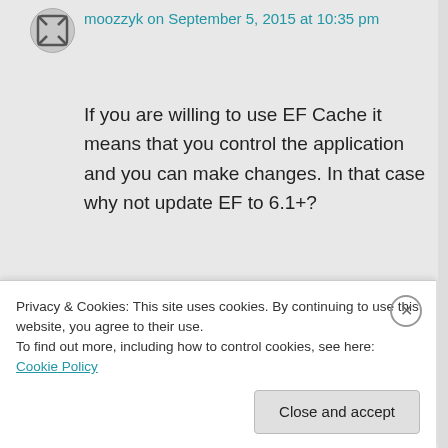moozzyk on September 5, 2015 at 10:35 pm
If you are willing to use EF Cache it means that you control the application and you can make changes. In that case why not update EF to 6.1+?
Pawel
★ Like
Privacy & Cookies: This site uses cookies. By continuing to use this website, you agree to their use.
To find out more, including how to control cookies, see here: Cookie Policy